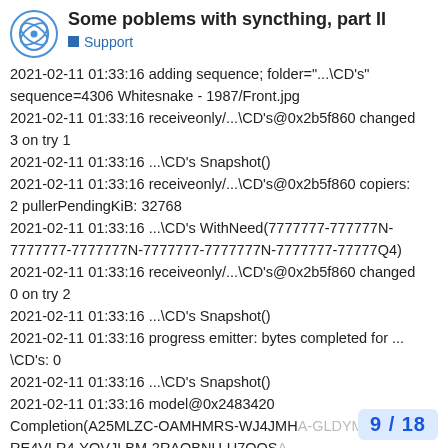Some poblems with syncthing, part II
■ Support
2021-02-11 01:33:16 adding sequence; folder="...\CD's" sequence=4306 Whitesnake - 1987/Front.jpg
2021-02-11 01:33:16 receiveonly/...\CD's@0x2b5f860 changed 3 on try 1
2021-02-11 01:33:16 ...\CD's Snapshot()
2021-02-11 01:33:16 receiveonly/...\CD's@0x2b5f860 copiers: 2 pullerPendingKiB: 32768
2021-02-11 01:33:16 ...\CD's WithNeed(7777777-777777N-7777777-7777777N-7777777-7777777N-7777777-77777Q4)
2021-02-11 01:33:16 receiveonly/...\CD's@0x2b5f860 changed 0 on try 2
2021-02-11 01:33:16 ...\CD's Snapshot()
2021-02-11 01:33:16 progress emitter: bytes completed for ...\CD's: 0
2021-02-11 01:33:16 ...\CD's Snapshot()
2021-02-11 01:33:16 model@0x2483420 Completion(A25MLZC-OAMHMRS-WJ4JMHA-GLDYMYI-RE4VLR4-YOVJLBM-2RAOBNU-U7OOSA... map[completion:100 globalBytes:2306987...
9 / 18